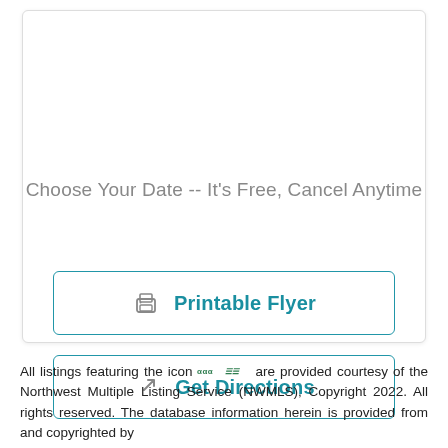Choose Your Date -- It's Free, Cancel Anytime
Printable Flyer
Get Directions
All listings featuring the icon are provided courtesy of the Northwest Multiple Listing Service (NWMLS), Copyright 2022. All rights reserved. The database information herein is provided from and copyrighted by